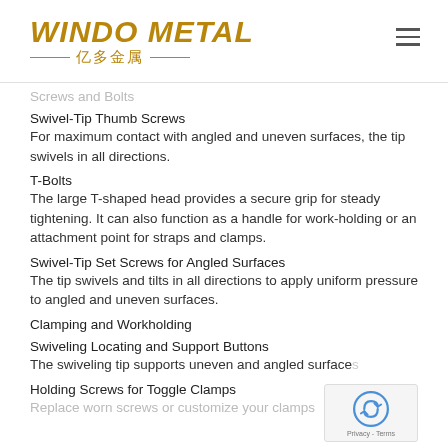WINDO METAL 亿多金属
Screws and Bolts (partial/faded)
Swivel-Tip Thumb Screws
For maximum contact with angled and uneven surfaces, the tip swivels in all directions.
T-Bolts
The large T-shaped head provides a secure grip for steady tightening. It can also function as a handle for work-holding or an attachment point for straps and clamps.
Swivel-Tip Set Screws for Angled Surfaces
The tip swivels and tilts in all directions to apply uniform pressure to angled and uneven surfaces.
Clamping and Workholding
Swiveling Locating and Support Buttons
The swiveling tip supports uneven and angled surfaces
Holding Screws for Toggle Clamps
Replace worn screws or customize your clamps